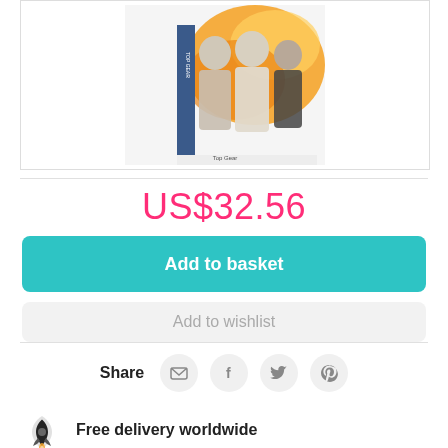[Figure (photo): DVD box cover showing three men (TV show hosts) against an explosion background]
US$32.56
Add to basket
Add to wishlist
Share
Free delivery worldwide